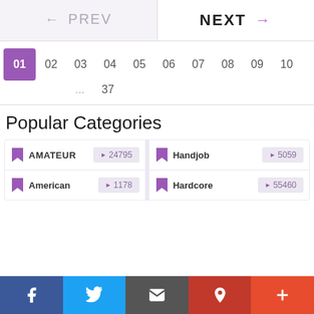← PREV   NEXT →
01 02 03 04 05 06 07 08 09 10 ... 37
Popular Categories
| Category | Count | Category | Count |
| --- | --- | --- | --- |
| AMATEUR | ▶ 24795 | Handjob | ▶ 5059 |
| American | ▶ 1178 | Hardcore | ▶ 55460 |
f  Twitter  Email  Pinterest  +